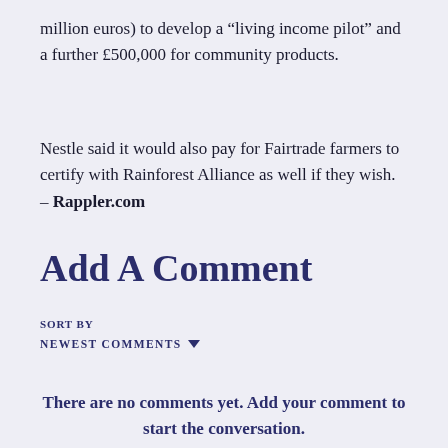million euros) to develop a “living income pilot” and a further £500,000 for community products.
Nestle said it would also pay for Fairtrade farmers to certify with Rainforest Alliance as well if they wish. – Rappler.com
Add A Comment
SORT BY
NEWEST COMMENTS
There are no comments yet. Add your comment to start the conversation.